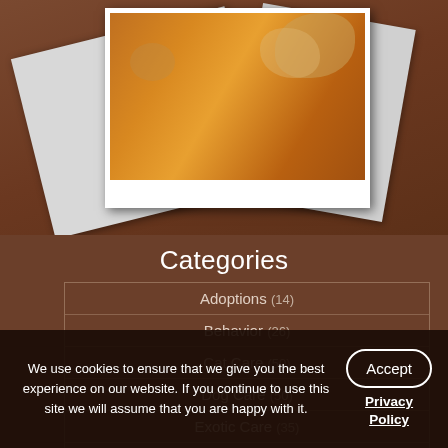[Figure (photo): Stacked polaroid photos showing a pet (cat or dog) against an orange-brown background. Multiple polaroid frames visible with the top photo showing a pet image.]
Categories
Adoptions (14)
Behavior (26)
Cat Care (50)
Dog Care (50)
Exotic Care (35)
General Care (103)
General Health
We use cookies to ensure that we give you the best experience on our website. If you continue to use this site we will assume that you are happy with it.
Accept
Privacy Policy